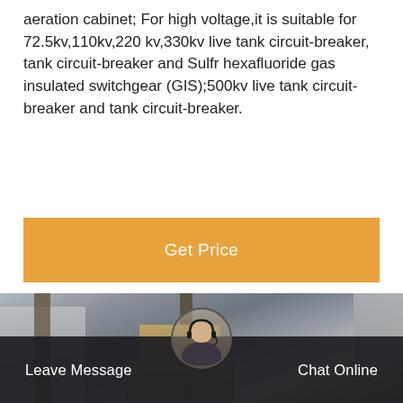aeration cabinet; For high voltage,it is suitable for 72.5kv,110kv,220 kv,330kv live tank circuit-breaker, tank circuit-breaker and Sulfr hexafluoride gas insulated switchgear (GIS);500kv live tank circuit-breaker and tank circuit-breaker.
[Figure (other): Orange 'Get Price' button banner]
[Figure (photo): Electrical substation with high voltage transmission towers, transformers, and yellow construction equipment in the foreground]
[Figure (other): Dark footer bar with 'Leave Message' and 'Chat Online' buttons and a customer service avatar in the center]